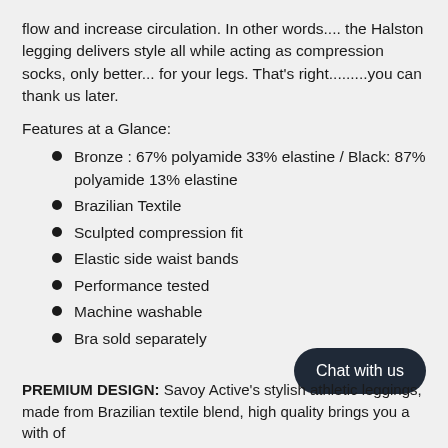flow and increase circulation. In other words.... the Halston legging delivers style all while acting as compression socks, only better... for your legs. That's right.........you can thank us later.
Features at a Glance:
Bronze : 67% polyamide 33% elastine / Black: 87% polyamide 13% elastine
Brazilian Textile
Sculpted compression fit
Elastic side waist bands
Performance tested
Machine washable
Bra sold separately
PREMIUM DESIGN: Savoy Active's stylish athletic leggings, made from Brazilian textile blend, high quality brings you a with of...